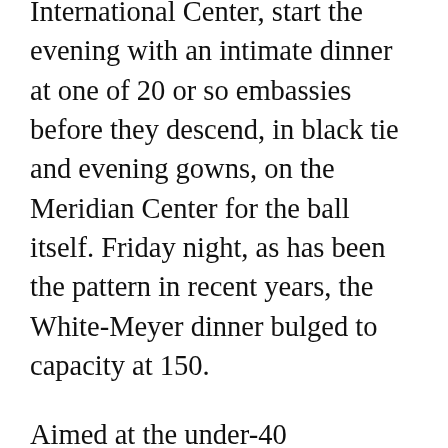International Center, start the evening with an intimate dinner at one of 20 or so embassies before they descend, in black tie and evening gowns, on the Meridian Center for the ball itself. Friday night, as has been the pattern in recent years, the White-Meyer dinner bulged to capacity at 150.
Aimed at the under-40 “professional” crowd, the White-Meyer dinner, held adjacent to the Meridian Center, has increasingly become a mix of all ages. Why do they prefer it over an embassy dinner? It has the